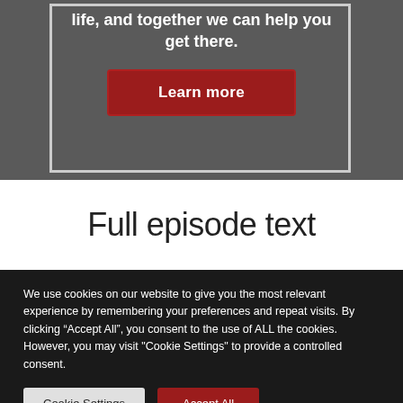life, and together we can help you get there.
[Figure (other): Red 'Learn more' button on dark grey background inside a light border box]
Full episode text
We use cookies on our website to give you the most relevant experience by remembering your preferences and repeat visits. By clicking “Accept All”, you consent to the use of ALL the cookies. However, you may visit "Cookie Settings" to provide a controlled consent.
Cookie Settings  Accept All